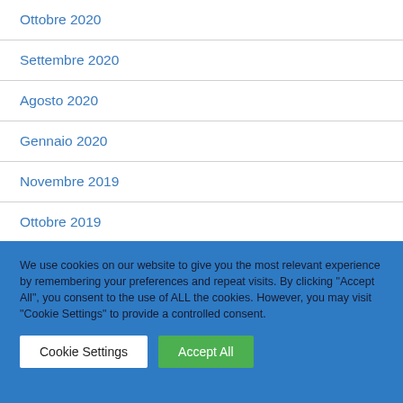Ottobre 2020
Settembre 2020
Agosto 2020
Gennaio 2020
Novembre 2019
Ottobre 2019
Giugno 2019
Aprile 2019
Marzo 2019
We use cookies on our website to give you the most relevant experience by remembering your preferences and repeat visits. By clicking "Accept All", you consent to the use of ALL the cookies. However, you may visit "Cookie Settings" to provide a controlled consent.